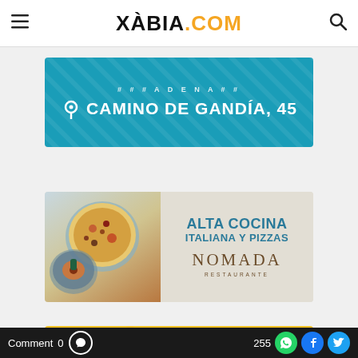XÀBIA.COM
[Figure (advertisement): Teal banner advertisement showing 'CAMINO DE GANDÍA, 45' with location pin icon]
[Figure (advertisement): Nomada Restaurante ad - Alta Cocina Italiana y Pizzas, with food photos of pizza and dessert plates]
[Figure (advertisement): WhatsApp Shopping banner on yellow background with green WhatsApp button]
Comment 0 | 255